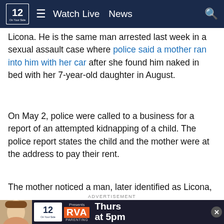NBC12 — Watch Live  News
Licona. He is the same man arrested last week in a sexual assault case where police said a mother ran into him with her car after she found him naked in bed with her 7-year-old daughter in August.
On May 2, police were called to a business for a report of an attempted kidnapping of a child. The police report states the child and the mother were at the address to pay their rent.
The mother noticed a man, later identified as Licona, looking at them. She told police she was initially worried because she had a money order for a large amount.
[Figure (screenshot): NBC12 RVA Parenting advertisement banner at bottom of page reading 'Presents Thurs at 5pm']